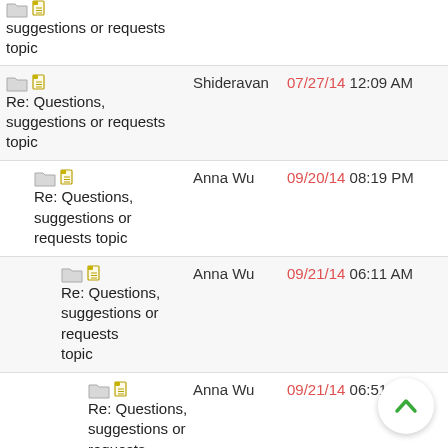Re: Questions, suggestions or requests topic — (truncated top)
Re: Questions, suggestions or requests topic | Shideravan | 07/27/14 12:09 AM
Re: Questions, suggestions or requests topic | Anna Wu | 09/20/14 08:19 PM
Re: Questions, suggestions or requests topic | Anna Wu | 09/21/14 06:11 AM
Re: Questions, suggestions or requests topic | Anna Wu | 09/21/14 06:51 AM
Re: Questions, suggestions or requests topic | qmc2 | 09/21/14 06:25 AM
Re: Questions, suggestions or requests topic | Anna Wu | 09/21/14 06:54 AM
Re: Questions, suggestions or requests topic | qmc2 | 09/21/14 07:00 AM
Re: Questions, | Anna Wu | 09/21/14 08:56 AM